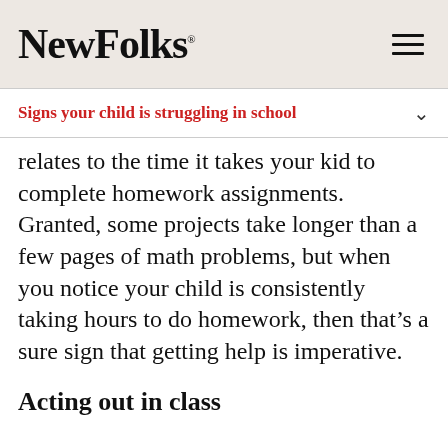NewFolks
Signs your child is struggling in school
relates to the time it takes your kid to complete homework assignments. Granted, some projects take longer than a few pages of math problems, but when you notice your child is consistently taking hours to do homework, then that’s a sure sign that getting help is imperative.
Acting out in class